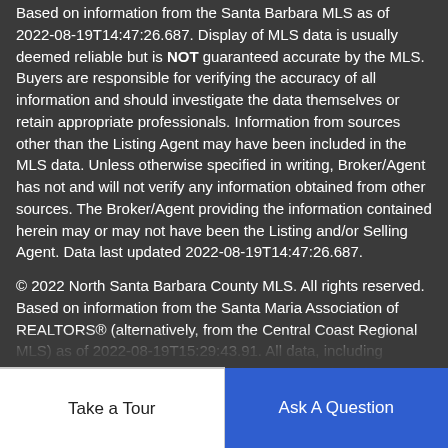Based on information from the Santa Barbara MLS as of 2022-08-19T14:47:26.687. Display of MLS data is usually deemed reliable but is NOT guaranteed accurate by the MLS. Buyers are responsible for verifying the accuracy of all information and should investigate the data themselves or retain appropriate professionals. Information from sources other than the Listing Agent may have been included in the MLS data. Unless otherwise specified in writing, Broker/Agent has not and will not verify any information obtained from other sources. The Broker/Agent providing the information contained herein may or may not have been the Listing and/or Selling Agent. Data last updated 2022-08-19T14:47:26.687.
© 2022 North Santa Barbara County MLS. All rights reserved. Based on information from the Santa Maria Association of REALTORS® (alternatively, from the Central Coast Regional MLS) as of 2022-08-19T15:29:43.91. All data, including measurements and calculations of area, is obtained from various sources and has not been, and will not be, verified by broker or MLS. All information
Take a Tour
Ask A Question